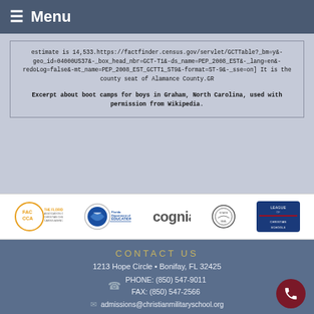Menu
estimate is 14,533.https://factfinder.census.gov/servlet/GCTTable?_bm=y&-geo_id=04000US37&-_box_head_nbr=GCT-T1&-ds_name=PEP_2008_EST&-_lang=en&-redoLog=false&-mt_name=PEP_2008_EST_GCTT1_ST9&-format=ST-9&-_sse=on] It is the county seat of Alamance County.GR
Excerpt about boot camps for boys in Graham, North Carolina, used with permission from Wikipedia.
[Figure (logo): Row of five organization logos: Florida Association of Christian Child Caring Agencies (FAC CCA), Florida Department of Education, Cognia, circular seal, League of Christian Schools]
CONTACT US
1213 Hope Circle • Bonifay, FL 32425
PHONE: (850) 547-9011
FAX: (850) 547-2566
admissions@christianmilitaryschool.org